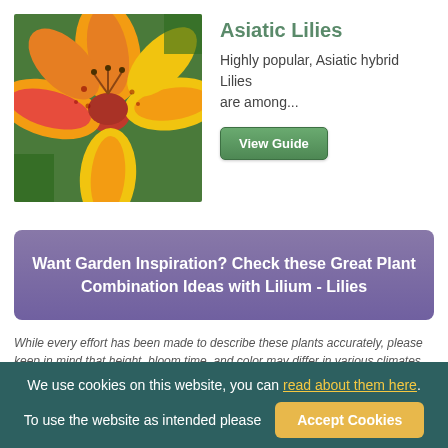[Figure (photo): Close-up photo of orange and yellow Asiatic lily flowers with red centers and spotted petals against green foliage background]
Asiatic Lilies
Highly popular, Asiatic hybrid Lilies are among...
View Guide
Want Garden Inspiration? Check these Great Plant Combination Ideas with Lilium - Lilies
While every effort has been made to describe these plants accurately, please keep in mind that height, bloom time, and color may differ in various climates. The description of these plants has been written based on numerous outside resources...
We use cookies on this website, you can read about them here. To use the website as intended please  Accept Cookies